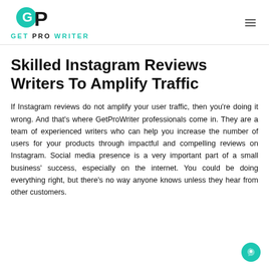GET PRO WRITER
Skilled Instagram Reviews Writers To Amplify Traffic
If Instagram reviews do not amplify your user traffic, then you're doing it wrong. And that's where GetProWriter professionals come in. They are a team of experienced writers who can help you increase the number of users for your products through impactful and compelling reviews on Instagram. Social media presence is a very important part of a small business' success, especially on the internet. You could be doing everything right, but there's no way anyone knows unless they hear from other customers.